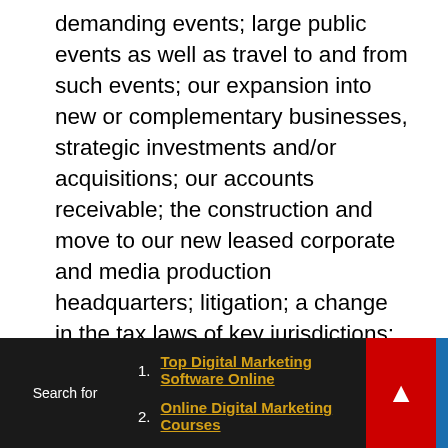demanding events; large public events as well as travel to and from such events; our expansion into new or complementary businesses, strategic investments and/or acquisitions; our accounts receivable; the construction and move to our new leased corporate and media production headquarters; litigation; a change in the tax laws of key jurisdictions; our feature film business; a possible decline in general economic conditions and disruption in financial markets including any resulting from COVID-19; our indebtedness including our convertible notes; our potential failure to meet market expectations for our financial performance; Vincent K. McMahon exercises control over our
Search for  1. Top Digital Marketing Software Online  2. Online Digital Marketing Courses